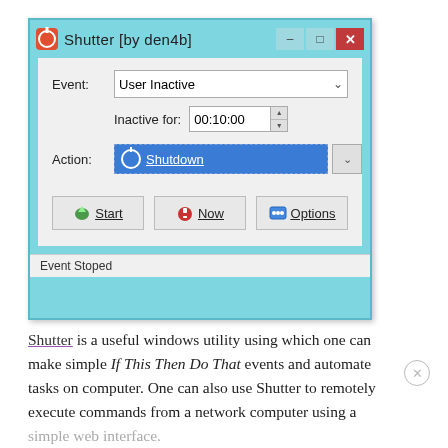[Figure (screenshot): Shutter application window showing Event: User Inactive, Inactive for: 00:10:00, Action: Shutdown, with Start, Now, and Options buttons, and status bar reading 'Event Stoped']
Shutter is a useful windows utility using which one can make simple If This Then Do That events and automate tasks on computer. One can also use Shutter to remotely execute commands from a network computer using a simple web interface.